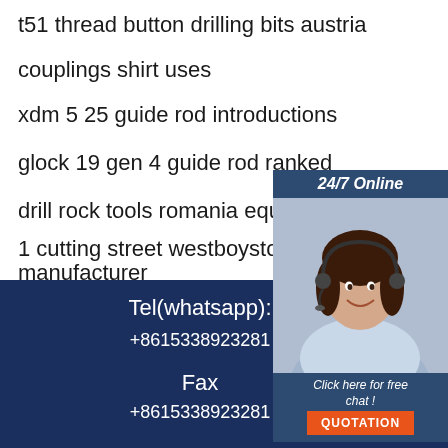t51 thread button drilling bits austria
couplings shirt uses
xdm 5 25 guide rod introductions
glock 19 gen 4 guide rod ranked
drill rock tools romania equipment
1 cutting street westboyston ma pro
manufacturer
[Figure (photo): Customer support agent with headset, smiling, with '24/7 Online' label, 'Click here for free chat!' text, and an orange QUOTATION button]
Tel(whatsapp):
+8615338923281
Fax
+8615338923281
[Figure (logo): TOP logo with orange dots arc above orange text TOP on dark blue background]